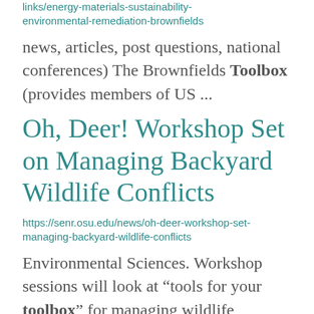links/energy-materials-sustainability-environmental-remediation-brownfields
news, articles, post questions, national conferences) The Brownfields Toolbox (provides members of US ...
Oh, Deer! Workshop Set on Managing Backyard Wildlife Conflicts
https://senr.osu.edu/news/oh-deer-workshop-set-managing-backyard-wildlife-conflicts
Environmental Sciences. Workshop sessions will look at “tools for your toolbox” for managing wildlife conflicts ...